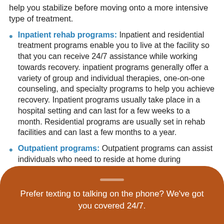help you stabilize before moving onto a more intensive type of treatment.
Inpatient rehab programs: Inpatient and residential treatment programs enable you to live at the facility so that you can receive 24/7 assistance while working towards recovery. inpatient programs generally offer a variety of group and individual therapies, one-on-one counseling, and specialty programs to help you achieve recovery. Inpatient programs usually take place in a hospital setting and can last for a few weeks to a month. Residential programs are usually set in rehab facilities and can last a few months to a year.
Outpatient programs: Outpatient programs can assist individuals who need to reside at home during treatment. Outpatient programs allow you
Prefer texting to talking on the phone? We've got you covered 24/7.